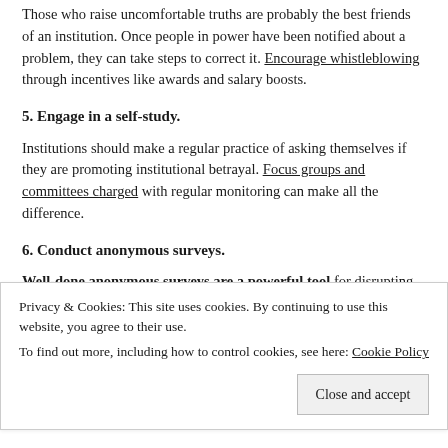Those who raise uncomfortable truths are probably the best friends of an institution. Once people in power have been notified about a problem, they can take steps to correct it. Encourage whistleblowing through incentives like awards and salary boosts.
5. Engage in a self-study.
Institutions should make a regular practice of asking themselves if they are promoting institutional betrayal. Focus groups and committees charged with regular monitoring can make all the difference.
6. Conduct anonymous surveys.
Well-done anonymous surveys are a powerful tool for disrupting institutional betrayal. Employ experts in sexual violence measurement, use the best techniques to get meaningful data, provide a summary of the results and tell members about the findings. This will give rise to a…
Privacy & Cookies: This site uses cookies. By continuing to use this website, you agree to their use.
To find out more, including how to control cookies, see here: Cookie Policy
Close and accept